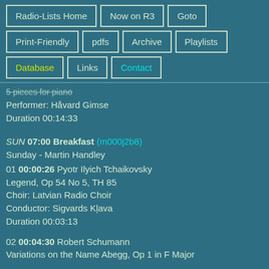Radio-Lists Home
Now on R3
Goto
Print-Friendly
pdfs
Archive
Playlists
Database
Links
Contact
5 pieces for piano
Performer: Håvard Gimse
Duration 00:14:33
SUN 07:00 Breakfast (m000j2b8)
Sunday - Martin Handley
01 00:00:26 Pyotr Ilyich Tchaikovsky
Legend, Op 54 No 5, TH 85
Choir: Latvian Radio Choir
Conductor: Sigvards Kļava
Duration 00:03:13
02 00:04:30 Robert Schumann
Variations on the Name Abegg, Op 1 in F Major